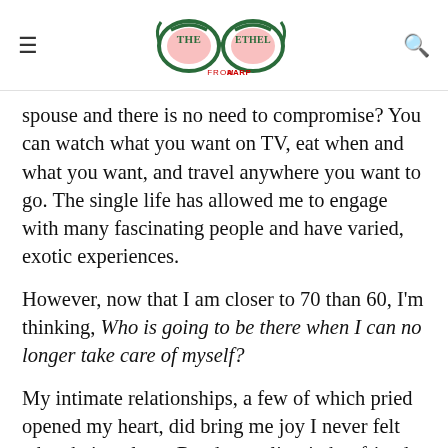The Ethel from AARP
spouse and there is no need to compromise? You can watch what you want on TV, eat when and what you want, and travel anywhere you want to go. The single life has allowed me to engage with many fascinating people and have varied, exotic experiences.
However, now that I am closer to 70 than 60, I'm thinking, Who is going to be there when I can no longer take care of myself?
My intimate relationships, a few of which pried opened my heart, did bring me joy I never felt when being alone. Randy, my live-in boyfriend, loved me like no other. When I returned home each night, I'd